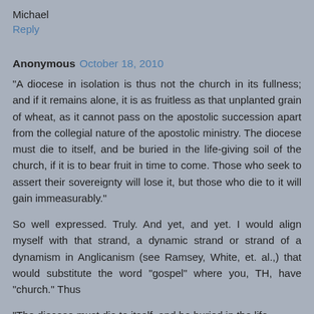Michael
Reply
Anonymous October 18, 2010
"A diocese in isolation is thus not the church in its fullness; and if it remains alone, it is as fruitless as that unplanted grain of wheat, as it cannot pass on the apostolic succession apart from the collegial nature of the apostolic ministry. The diocese must die to itself, and be buried in the life-giving soil of the church, if it is to bear fruit in time to come. Those who seek to assert their sovereignty will lose it, but those who die to it will gain immeasurably."
So well expressed. Truly. And yet, and yet. I would align myself with that strand, a dynamic strand or strand of a dynamism in Anglicanism (see Ramsey, White, et. al.,) that would substitute the word "gospel" where you, TH, have "church." Thus
"The diocese must die to itself, and be buried in the life-